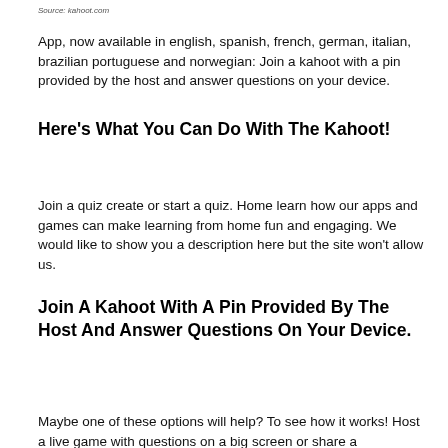Source: kahoot.com
App, now available in english, spanish, french, german, italian, brazilian portuguese and norwegian: Join a kahoot with a pin provided by the host and answer questions on your device.
Here's What You Can Do With The Kahoot!
Join a quiz create or start a quiz. Home learn how our apps and games can make learning from home fun and engaging. We would like to show you a description here but the site won't allow us.
Join A Kahoot With A Pin Provided By The Host And Answer Questions On Your Device.
Maybe one of these options will help? To see how it works! Host a live game with questions on a big screen or share a